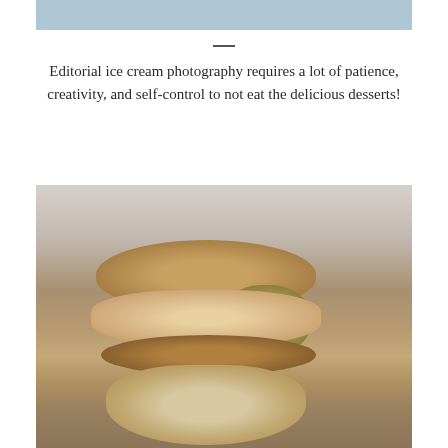[Figure (photo): Top portion of a food photography image showing a light blue/steel blue background strip]
Editorial ice cream photography requires a lot of patience, creativity, and self-control to not eat the delicious desserts!
[Figure (photo): Close-up food photography of stacked ice cream cookie sandwiches with nuts, showing melting ice cream between cookies on a white wooden surface]